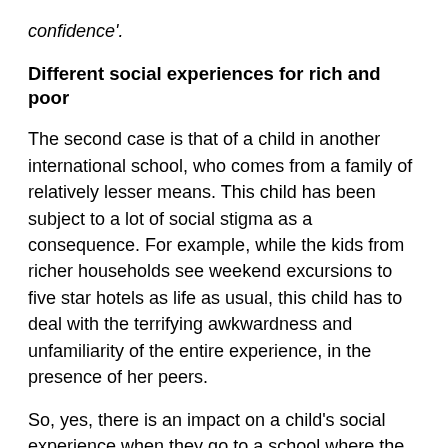confidence'.
Different social experiences for rich and poor
The second case is that of a child in another international school, who comes from a family of relatively lesser means. This child has been subject to a lot of social stigma as a consequence. For example, while the kids from richer households see weekend excursions to five star hotels as life as usual, this child has to deal with the terrifying awkwardness and unfamiliarity of the entire experience, in the presence of her peers.
So, yes, there is an impact on a child's social experience when they go to a school where the majority is from a different economic background. (I believe it goes both ways — some rich parents send their kids to scho th kids predominantly from a lower economic stratum, just